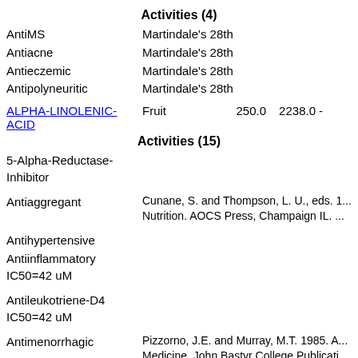Activities (4)
AntiMS    Martindale's 28th
Antiacne    Martindale's 28th
Antieczemic    Martindale's 28th
Antipolyneuritic    Martindale's 28th
ALPHA-LINOLENIC-ACID    Fruit    250.0    2238.0    -
Activities (15)
5-Alpha-Reductase-Inhibitor
Antiaggregant    Cunane, S. and Thompson, L. U., eds. 1... Nutrition. AOCS Press, Champaign IL. ...
Antihypertensive
Antiinflammatory IC50=42 uM
Antileukotriene-D4 IC50=42 uM
Antimenorrhagic    Pizzorno, J.E. and Murray, M.T. 1985. A... Medicine. John Bastyr College Publicati... (Looseleaf).